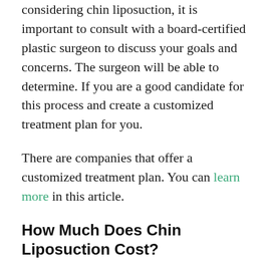considering chin liposuction, it is important to consult with a board-certified plastic surgeon to discuss your goals and concerns. The surgeon will be able to determine. If you are a good candidate for this process and create a customized treatment plan for you.
There are companies that offer a customized treatment plan. You can learn more in this article.
How Much Does Chin Liposuction Cost?
What is chin liposuction? It is a cosmetic procedure that can remove excess fat from the chin and neck area. The cost of chin liposuction will vary depending on the